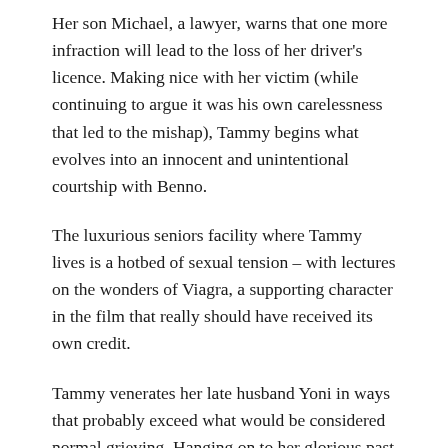Her son Michael, a lawyer, warns that one more infraction will lead to the loss of her driver's licence. Making nice with her victim (while continuing to argue it was his own carelessness that led to the mishap), Tammy begins what evolves into an innocent and unintentional courtship with Benno.
The luxurious seniors facility where Tammy lives is a hotbed of sexual tension – with lectures on the wonders of Viagra, a supporting character in the film that really should have received its own credit.
Tammy venerates her late husband Yoni in ways that probably exceed what would be considered normal grieving. Hanging on to her glorious past – Tammy and Yoni were a musical duo that toured Israel and abroad – versus facing an exciting but unnerving new romance is the conflict that drives